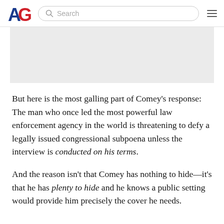AG [logo] Search [hamburger menu]
[Figure (other): Gray advertisement placeholder rectangle]
But here is the most galling part of Comey’s response: The man who once led the most powerful law enforcement agency in the world is threatening to defy a legally issued congressional subpoena unless the interview is conducted on his terms.
And the reason isn’t that Comey has nothing to hide—it’s that he has plenty to hide and he knows a public setting would provide him precisely the cover he needs.